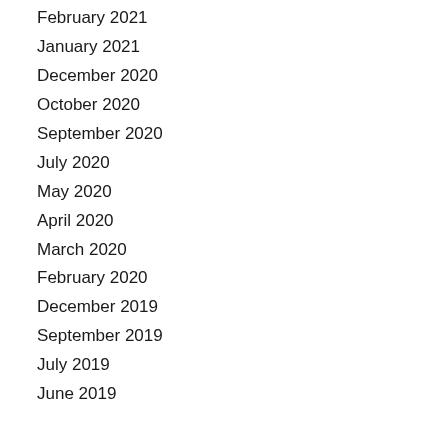February 2021
January 2021
December 2020
October 2020
September 2020
July 2020
May 2020
April 2020
March 2020
February 2020
December 2019
September 2019
July 2019
June 2019